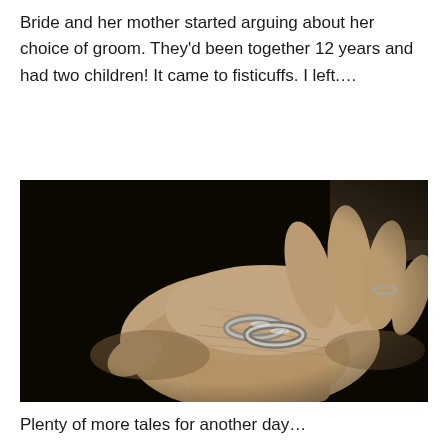Bride and her mother started arguing about her choice of groom. They'd been together 12 years and had two children! It came to fisticuffs. I left.…
[Figure (photo): Sepia-toned photograph of an open hand (male) holding two interlocked silver wedding rings against a dark/black background. The person is wearing a dark suit jacket visible at the wrist.]
Plenty of more tales for another day…